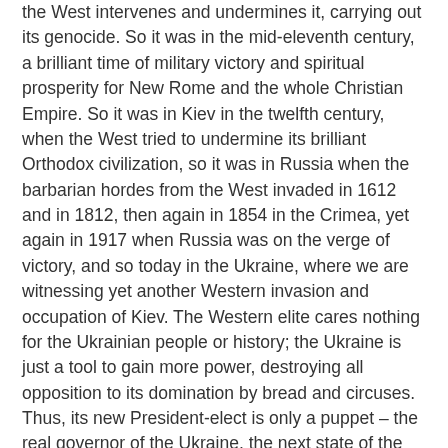the West intervenes and undermines it, carrying out its genocide. So it was in the mid-eleventh century, a brilliant time of military victory and spiritual prosperity for New Rome and the whole Christian Empire. So it was in Kiev in the twelfth century, when the West tried to undermine its brilliant Orthodox civilization, so it was in Russia when the barbarian hordes from the West invaded in 1612 and in 1812, then again in 1854 in the Crimea, yet again in 1917 when Russia was on the verge of victory, and so today in the Ukraine, where we are witnessing yet another Western invasion and occupation of Kiev. The Western elite cares nothing for the Ukrainian people or history; the Ukraine is just a tool to gain more power, destroying all opposition to its domination by bread and circuses. Thus, its new President-elect is only a puppet – the real governor of the Ukraine, the next state of the USA, is the US ambassador in Kiev.
Q: This is not the version of the Western media.